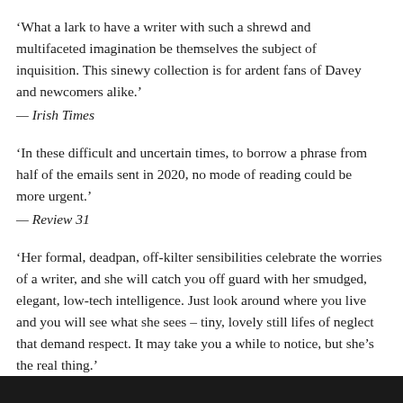‘What a lark to have a writer with such a shrewd and multifaceted imagination be themselves the subject of inquisition. This sinewy collection is for ardent fans of Davey and newcomers alike.’
— Irish Times
‘In these difficult and uncertain times, to borrow a phrase from half of the emails sent in 2020, no mode of reading could be more urgent.’
— Review 31
‘Her formal, deadpan, off-kilter sensibilities celebrate the worries of a writer, and she will catch you off guard with her smudged, elegant, low-tech intelligence. Just look around where you live and you will see what she sees – tiny, lovely still lifes of neglect that demand respect. It may take you a while to notice, but she’s the real thing.’
— John Waters